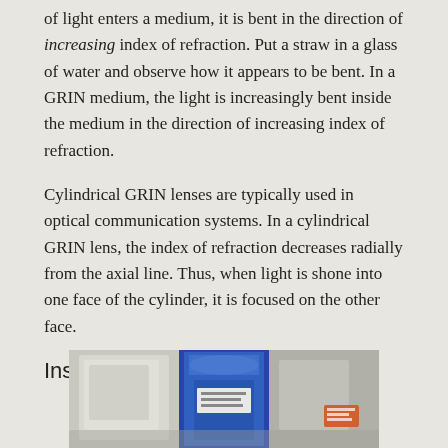of light enters a medium, it is bent in the direction of increasing index of refraction. Put a straw in a glass of water and observe how it appears to be bent. In a GRIN medium, the light is increasingly bent inside the medium in the direction of increasing index of refraction.
Cylindrical GRIN lenses are typically used in optical communication systems. In a cylindrical GRIN lens, the index of refraction decreases radially from the axial line. Thus, when light is shone into one face of the cylinder, it is focused on the other face.
Instructions
[Figure (photo): A photograph showing lab materials including what appears to be a blue cylindrical container and other materials on a surface, likely for a GRIN lens experiment.]